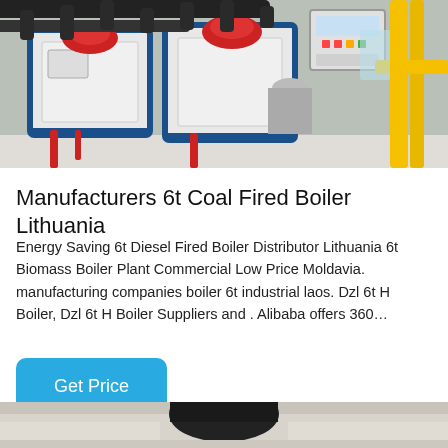[Figure (photo): Industrial boiler room with large blue and white boiler units, red-capped burners, black pipes overhead, yellow pipes on the right, and control panel on the wall.]
Manufacturers 6t Coal Fired Boiler Lithuania
Energy Saving 6t Diesel Fired Boiler Distributor Lithuania 6t Biomass Boiler Plant Commercial Low Price Moldavia. manufacturing companies boiler 6t industrial laos. Dzl 6t H Boiler, Dzl 6t H Boiler Suppliers and . Alibaba offers 360…
Get Price
[Figure (photo): Partial view of another industrial boiler or industrial equipment interior, showing a dark overhead component against a light background.]